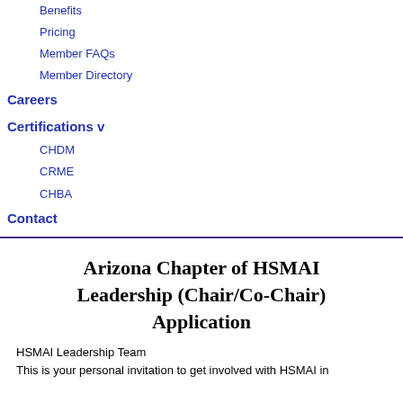Benefits
Pricing
Member FAQs
Member Directory
Careers
Certifications v
CHDM
CRME
CHBA
Contact
Arizona Chapter of HSMAI Leadership (Chair/Co-Chair) Application
HSMAI Leadership Team
This is your personal invitation to get involved with HSMAI in